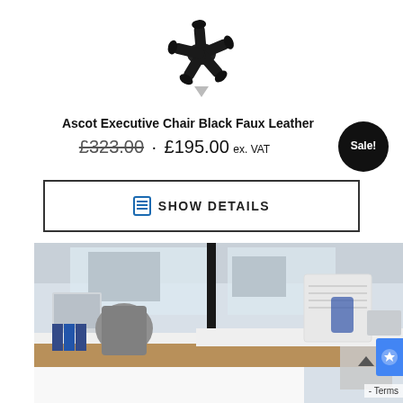[Figure (photo): Bottom view of a black office chair base with five caster wheels on a white background]
Ascot Executive Chair Black Faux Leather
£323.00 · £195.00 ex. VAT
Sale!
SHOW DETAILS
[Figure (photo): Office environment with white desks, grey ergonomic chairs, monitor screens and large windows showing a city building]